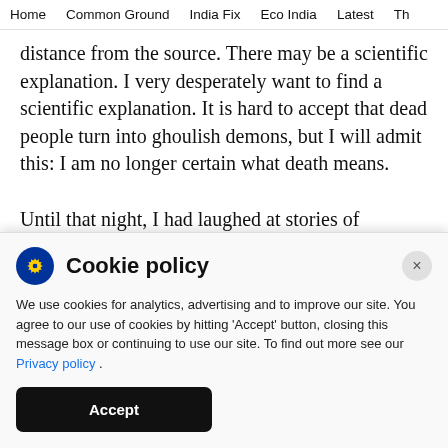Home  Common Ground  India Fix  Eco India  Latest  Th
distance from the source. There may be a scientific explanation. I very desperately want to find a scientific explanation. It is hard to accept that dead people turn into ghoulish demons, but I will admit this: I am no longer certain what death means.

Until that night, I had laughed at stories of bhatakti aatma (wandering soul), though I enjoyed stories of hauntings. Late at night, friends would huddle clos…
Cookie policy
We use cookies for analytics, advertising and to improve our site. You agree to our use of cookies by hitting 'Accept' button, closing this message box or continuing to use our site. To find out more see our Privacy policy .
Accept